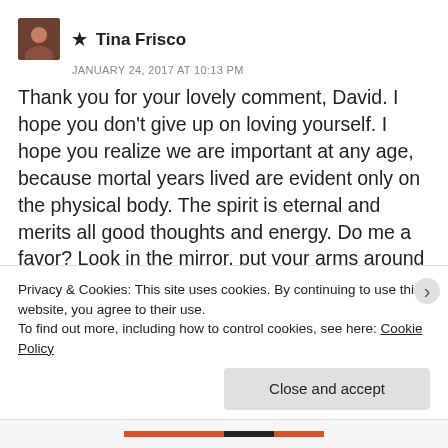★ Tina Frisco
JANUARY 24, 2017 AT 10:13 PM
Thank you for your lovely comment, David. I hope you don't give up on loving yourself. I hope you realize we are important at any age, because mortal years lived are evident only on the physical body. The spirit is eternal and merits all good thoughts and energy. Do me a favor? Look in the mirror, put your arms around yourself, and say, 'I love you, David; you are worthy.' I see you for the bright loving soul that you are. I hope you will, too. Hugs, my dear friend ❤
Privacy & Cookies: This site uses cookies. By continuing to use this website, you agree to their use.
To find out more, including how to control cookies, see here: Cookie Policy